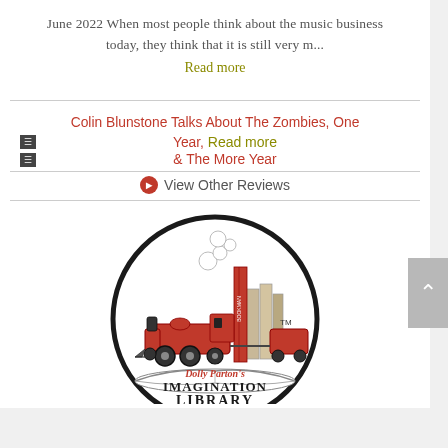June 2022 When most people think about the music business today, they think that it is still very m...
Read more
Colin Blunstone Talks About The Zombies, One Year, & The More Year
Read more
View Other Reviews
[Figure (logo): Dolly Parton's Imagination Library logo — circular logo featuring a red steam locomotive pulling books on an open book, with the text 'Dolly Parton's IMAGINATION LIBRARY' around the bottom inside the circle. A TM mark is visible.]